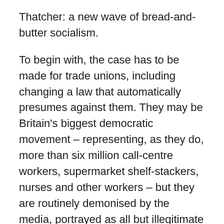Thatcher: a new wave of bread-and-butter socialism.
To begin with, the case has to be made for trade unions, including changing a law that automatically presumes against them. They may be Britain's biggest democratic movement – representing, as they do, more than six million call-centre workers, supermarket shelf-stackers, nurses and other workers – but they are routinely demonised by the media, portrayed as all but illegitimate pariahs. The past few months have seen yet another attempt to drive them from political life, on the now demonstrably false pretext of alleged vote-rigging in Falkirk. But trade unions are the most effective means for workers to collectively organise for better wages and conditions: it is their weakness that allowed wages to drop even in boom time. In another economic crisis, President Franklin D Roosevelt – no socialist – trumpeted trade